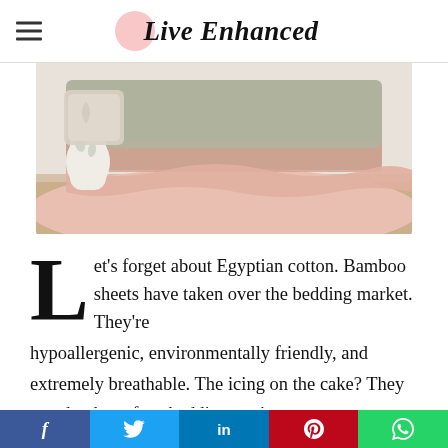Live Enhanced
[Figure (photo): Folded bamboo/linen bedding sheets in neutral tones of blush pink and sage green, with a white ceramic vase in the background, close-up lifestyle shot.]
Let's forget about Egyptian cotton. Bamboo sheets have taken over the bedding market. They're hypoallergenic, environmentally friendly, and extremely breathable. The icing on the cake? They may be the softest bedding you've ever
f  Twitter  in  Pinterest  WhatsApp